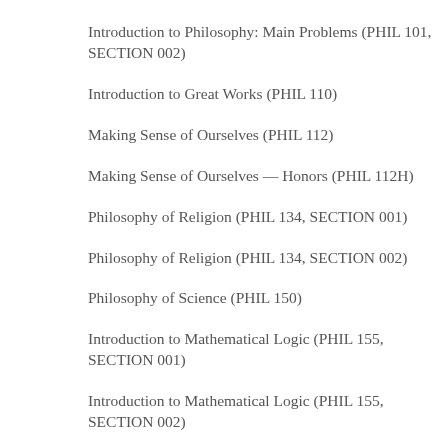Introduction to Philosophy: Main Problems (PHIL 101, SECTION 002)
Introduction to Great Works (PHIL 110)
Making Sense of Ourselves (PHIL 112)
Making Sense of Ourselves — Honors (PHIL 112H)
Philosophy of Religion (PHIL 134, SECTION 001)
Philosophy of Religion (PHIL 134, SECTION 002)
Philosophy of Science (PHIL 150)
Introduction to Mathematical Logic (PHIL 155, SECTION 001)
Introduction to Mathematical Logic (PHIL 155, SECTION 002)
Introduction to Ethics (PHIL 160, SECTION 002)
Introduction to Ethics (PHIL 160, SECTION 003)